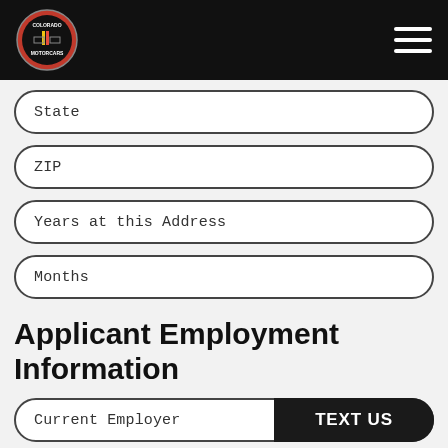Colorado Motocross logo and navigation header
State
ZIP
Years at this Address
Months
Applicant Employment Information
Current Employer
TEXT US